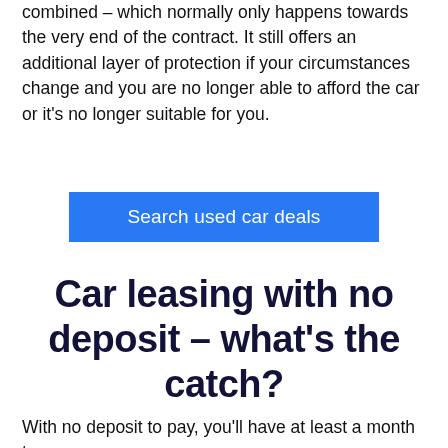combined – which normally only happens towards the very end of the contract. It still offers an additional layer of protection if your circumstances change and you are no longer able to afford the car or it's no longer suitable for you.
Search used car deals
Car leasing with no deposit – what's the catch?
With no deposit to pay, you'll have at least a month to